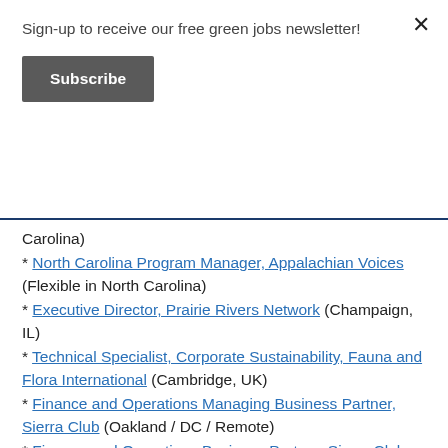Sign-up to receive our free green jobs newsletter!
Subscribe
Carolina)
* North Carolina Program Manager, Appalachian Voices (Flexible in North Carolina)
* Executive Director, Prairie Rivers Network (Champaign, IL)
* Technical Specialist, Corporate Sustainability, Fauna and Flora International (Cambridge, UK)
* Finance and Operations Managing Business Partner, Sierra Club (Oakland / DC / Remote)
* Finance and Operations Business Partner, Sierra Club (Oakland / DC / Remote)